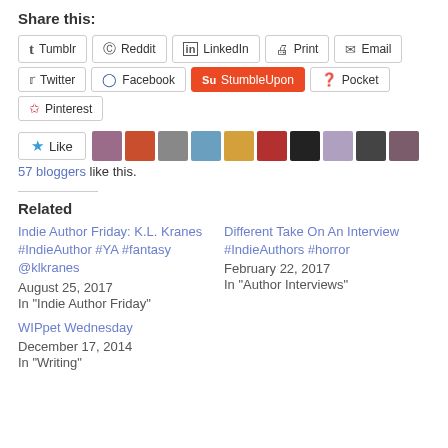Share this:
Tumblr
Reddit
LinkedIn
Print
Email
Twitter
Facebook
StumbleUpon
Pocket
Pinterest
57 bloggers like this.
Related
Indie Author Friday: K.L. Kranes #IndieAuthor #YA #fantasy @klkranes
August 25, 2017
In "Indie Author Friday"
Different Take On An Interview #IndieAuthors #horror
February 22, 2017
In "Author Interviews"
WIPpet Wednesday
December 17, 2014
In "Writing"